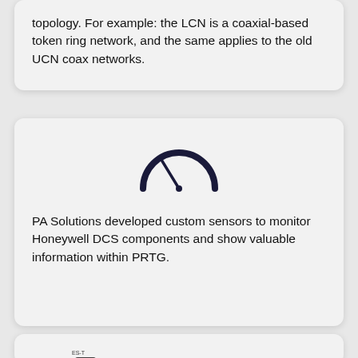topology. For example: the LCN is a coaxial-based token ring network, and the same applies to the old UCN coax networks.
[Figure (infographic): A speedometer/gauge icon rendered in dark navy blue, showing a semicircular dial with a needle pointing slightly left of center.]
PA Solutions developed custom sensors to monitor Honeywell DCS components and show valuable information within PRTG.
[Figure (screenshot): Partial view of a network diagram or interface showing labels 'US GUS' and 'ES-T' with what appears to be a logo or icon.]